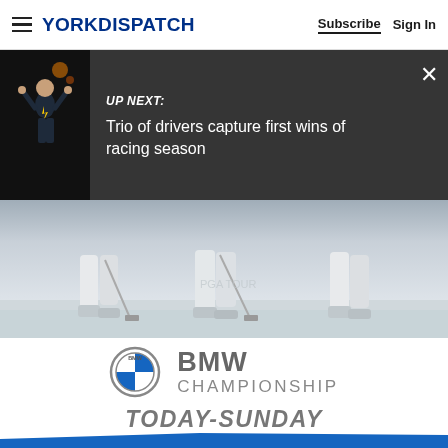YORK DISPATCH — Subscribe | Sign In
[Figure (photo): Up Next banner with thumbnail of racing driver celebrating and dark overlay with text: UP NEXT: Trio of drivers capture first wins of racing season]
[Figure (photo): Hero image showing legs of golfers on a course, light grey/white tones]
[Figure (logo): BMW Championship logo with BMW roundel and text BMW CHAMPIONSHIP]
TODAY-SUNDAY
[Figure (photo): Partial blue angled bar at bottom of BMW Championship advertisement]